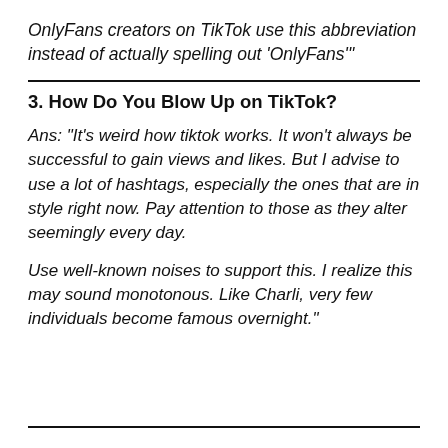OnlyFans creators on TikTok use this abbreviation instead of actually spelling out 'OnlyFans'"
3. How Do You Blow Up on TikTok?
Ans: "It's weird how tiktok works. It won't always be successful to gain views and likes. But I advise to use a lot of hashtags, especially the ones that are in style right now. Pay attention to those as they alter seemingly every day.
Use well-known noises to support this. I realize this may sound monotonous. Like Charli, very few individuals become famous overnight."